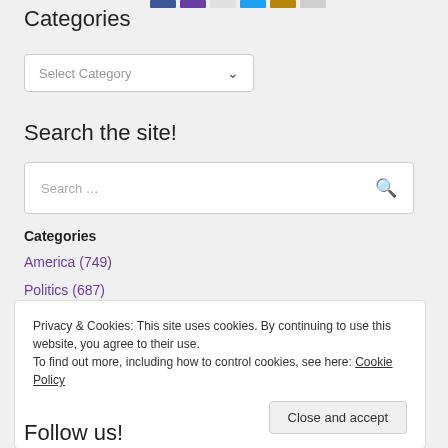[Figure (other): Colored strip of social media icon blocks at top]
Categories
[Figure (other): Select Category dropdown box]
Search the site!
[Figure (other): Search input box with search icon]
Categories
America (749)
Politics (687)
Privacy & Cookies: This site uses cookies. By continuing to use this website, you agree to their use.
To find out more, including how to control cookies, see here: Cookie Policy
Close and accept
Follow us!